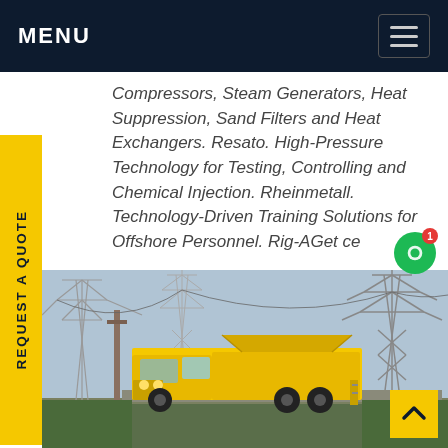MENU
Compressors, Steam Generators, Heat Suppression, Sand Filters and Heat Exchangers. Resato. High-Pressure Technology for Testing, Controlling and Chemical Injection. Rheinmetall. Technology-Driven Training Solutions for Offshore Personnel. Rig-AGet ce
[Figure (photo): Yellow utility truck with elevated equipment parked in front of a large electrical substation with steel transmission towers and power lines.]